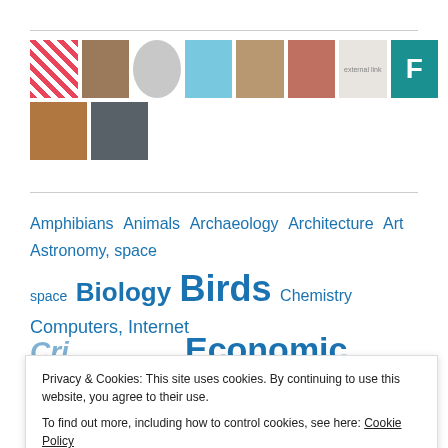[Figure (photo): Grid of user/topic thumbnail images including a geometric red-white pattern, a bird, a portrait sketch, a blue bird, a person with animal, a person portrait, a text logo, a teal F icon, a monkey, and a snowy scene]
Amphibians Animals Archaeology Architecture Art Astronomy, space Biology Birds Chemistry Computers, Internet
Economic
Privacy & Cookies: This site uses cookies. By continuing to use this website, you agree to their use. To find out more, including how to control cookies, see here: Cookie Policy
Close and accept
Figures Humour Invertebrates Literature